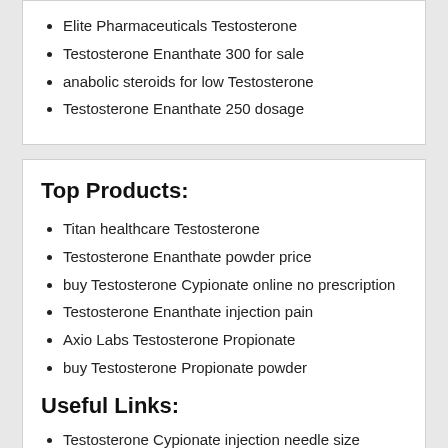Elite Pharmaceuticals Testosterone
Testosterone Enanthate 300 for sale
anabolic steroids for low Testosterone
Testosterone Enanthate 250 dosage
Top Products:
Titan healthcare Testosterone
Testosterone Enanthate powder price
buy Testosterone Cypionate online no prescription
Testosterone Enanthate injection pain
Axio Labs Testosterone Propionate
buy Testosterone Propionate powder
Useful Links:
Testosterone Cypionate injection needle size